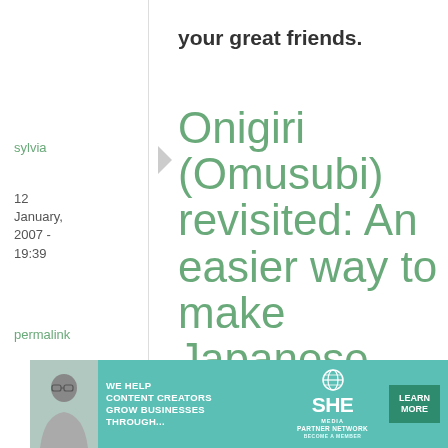your great friends.
sylvia
12 January, 2007 - 19:39
permalink
Onigiri (Omusubi) revisited: An easier way to make Japanese rice
One filling that gets me
[Figure (infographic): SHE Media Partner Network advertisement banner with teal background, photo of woman with laptop, text 'We help content creators grow businesses through...', SHE logo, and Learn More button]